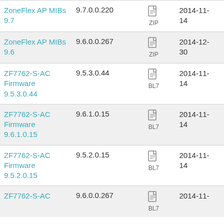| Name | Version | Type | Date |
| --- | --- | --- | --- |
| ZoneFlex AP MIBs 9.7 | 9.7.0.0.220 | ZIP | 2014-11-14 |
| ZoneFlex AP MIBs 9.6 | 9.6.0.0.267 | ZIP | 2014-12-30 |
| ZF7762-S-AC Firmware 9.5.3.0.44 | 9.5.3.0.44 | BL7 | 2014-11-14 |
| ZF7762-S-AC Firmware 9.6.1.0.15 | 9.6.1.0.15 | BL7 | 2014-11-14 |
| ZF7762-S-AC Firmware 9.5.2.0.15 | 9.5.2.0.15 | BL7 | 2014-11-14 |
| ZF7762-S-AC | 9.6.0.0.267 | BL7 | 2014-11- |